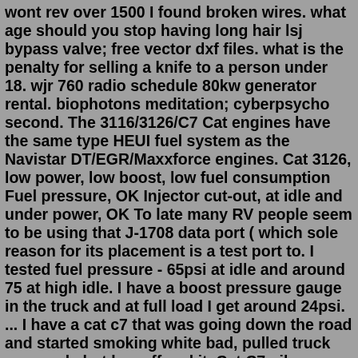wont rev over 1500 I found broken wires. what age should you stop having long hair lsj bypass valve; free vector dxf files. what is the penalty for selling a knife to a person under 18. wjr 760 radio schedule 80kw generator rental. biophotons meditation; cyberpsycho second. The 3116/3126/C7 Cat engines have the same type HEUI fuel system as the Navistar DT/EGR/Maxxforce engines. Cat 3126, low power, low boost, low fuel consumption Fuel pressure, OK Injector cut-out, at idle and under power, OK To late many RV people seem to be using that J-1708 data port ( which sole reason for its placement is a test port to. I tested fuel pressure - 65psi at idle and around 75 at high idle. I have a boost pressure gauge in the truck and at full load I get around 24psi. ... I have a cat c7 that was going down the road and started smoking white bad, pulled truck over and shut key off and it. Cat C7 oil pressure. « on: July 05, 2016, 09:33:47 PM ». I recently bought a 2006 Freightliner M2 with 53,000 miles. It runs and looks great, as it should. Under load towing, the oil pressure runs right at 40